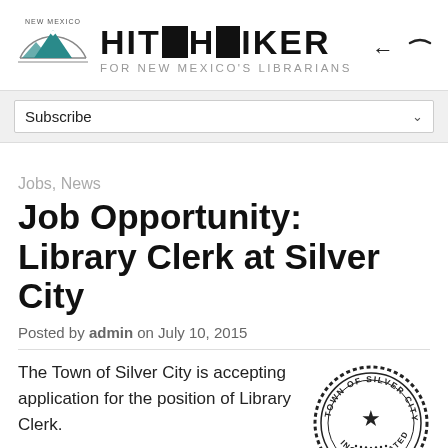[Figure (logo): New Mexico state logo with teal mountain graphic and text 'NEW MEXICO' in arc]
HITCHHIKER FOR NEW MEXICO'S LIBRARIANS
Subscribe
Jobs, News
Job Opportunity: Library Clerk at Silver City
Posted by admin on July 10, 2015
The Town of Silver City is accepting application for the position of Library Clerk.
[Figure (logo): Town of Silver City circular seal with text 'TOWN OF SILVER CITY' and 'INCORPORATED' at bottom]